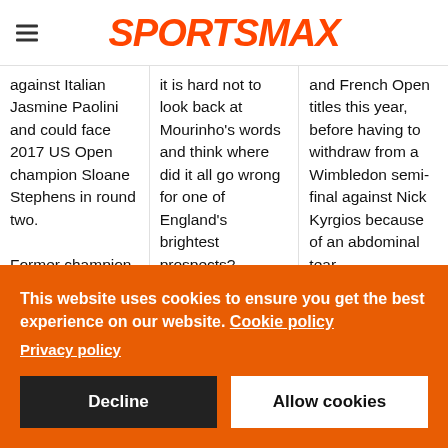SPORTSMAX
against Italian Jasmine Paolini and could face 2017 US Open champion Sloane Stephens in round two.

Former champion Naomi Osaka
it is hard not to look back at Mourinho's words and think where did it all go wrong for one of England's brightest prospects?
and French Open titles this year, before having to withdraw from a Wimbledon semi-final against Nick Kyrgios because of an abdominal tear.

Djokovic was not
This website uses cookies to ensure you get the best experience on our website. Cookie policy
Privacy policy
Decline
Allow cookies